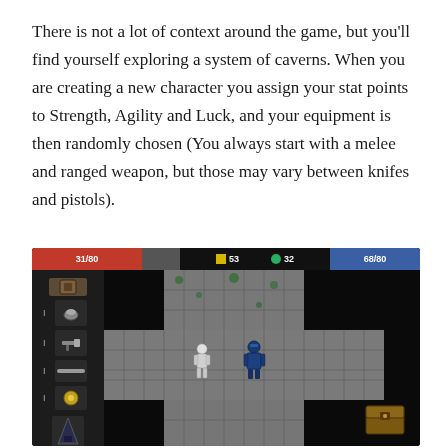There is not a lot of context around the game, but you'll find yourself exploring a system of caverns. When you are creating a new character you assign your stat points to Strength, Agility and Luck, and your equipment is then randomly chosen (You always start with a melee and ranged weapon, but those may vary between knifes and pistols).
[Figure (screenshot): A top-down 2D dungeon game screenshot showing a character exploring a stone cavern. The HUD shows 31/80 HP (red bar), a gray bar, yellow icon '53', green coin icon '32', and 68/80 mana (blue bar). The left side shows an inventory panel with item slots. The main area shows a cross-shaped stone floor room with a player character (white figure) and an enemy (blue armored figure). A chest appears in the lower right corner.]